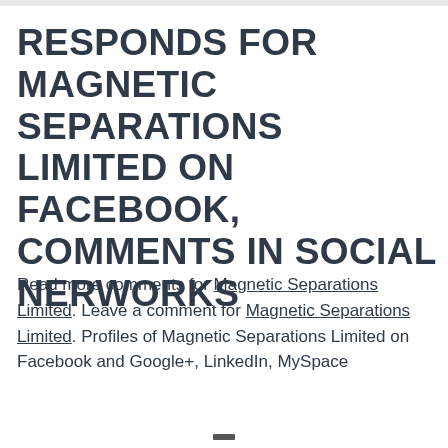RESPONDS FOR MAGNETIC SEPARATIONS LIMITED ON FACEBOOK, COMMENTS IN SOCIAL NERWORKS
Read more comments for Magnetic Separations Limited. Leave a comment for Magnetic Separations Limited. Profiles of Magnetic Separations Limited on Facebook and Google+, LinkedIn, MySpace